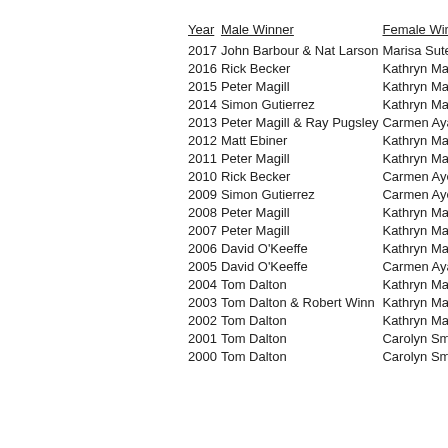| Year | Male Winner | Female Winner |
| --- | --- | --- |
| 2017 | John Barbour & Nat Larson | Marisa Sutera- |
| 2016 | Rick Becker | Kathryn Martin- |
| 2015 | Peter Magill | Kathryn Martin- |
| 2014 | Simon Gutierrez | Kathryn Martin- |
| 2013 | Peter Magill & Ray Pugsley | Carmen Ayala- |
| 2012 | Matt Ebiner | Kathryn Martin- |
| 2011 | Peter Magill | Kathryn Martin- |
| 2010 | Rick Becker | Carmen Ayela- |
| 2009 | Simon Gutierrez | Carmen Ayela- |
| 2008 | Peter Magill | Kathryn Martin- |
| 2007 | Peter Magill | Kathryn Martin- |
| 2006 | David O'Keeffe | Kathryn Martin- |
| 2005 | David O'Keeffe | Carmen Ayala- |
| 2004 | Tom Dalton | Kathryn Martin- |
| 2003 | Tom Dalton & Robert Winn | Kathryn Martin- |
| 2002 | Tom Dalton | Kathryn Martin- |
| 2001 | Tom Dalton | Carolyn Smith- |
| 2000 | Tom Dalton | Carolyn Smith- |